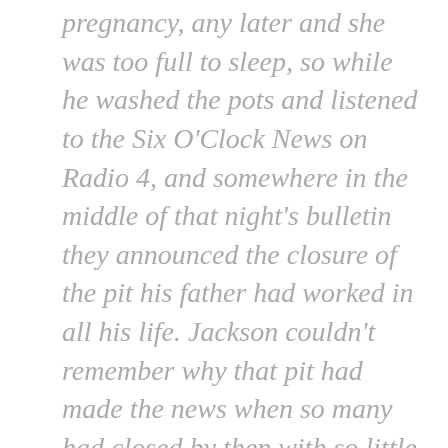pregnancy, any later and she was too full to sleep, so while he washed the pots and listened to the Six O'Clock News on Radio 4, and somewhere in the middle of that night's bulletin they announced the closure of the pit his father had worked in all his life. Jackson couldn't remember why that pit had made the news when so many had closed by then with so little fuss, perhaps because it had been one of the largest coalfields in the area, perhaps because it was the last working mine in the region, but whatever, he stood with a soapy plate in his hand and listened to the newsreader, and without any